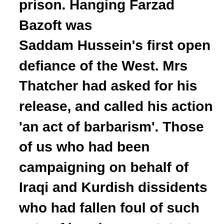prison. Hanging Farzad Bazoft was Saddam Hussein's first open defiance of the West. Mrs Thatcher had asked for his release, and called his action 'an act of barbarism'. Those of us who had been campaigning on behalf of Iraqi and Kurdish dissidents who had fallen foul of such acts of imprisonment, torture and murder for the previous ten years, only to be told these were part of internecine